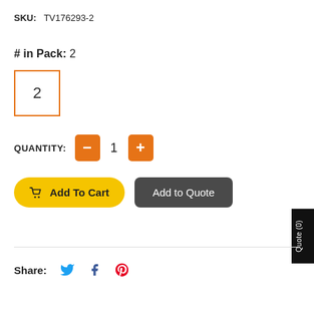SKU: TV176293-2
# in Pack: 2
2
QUANTITY: − 1 +
Add To Cart
Add to Quote
Quote (0)
Share: